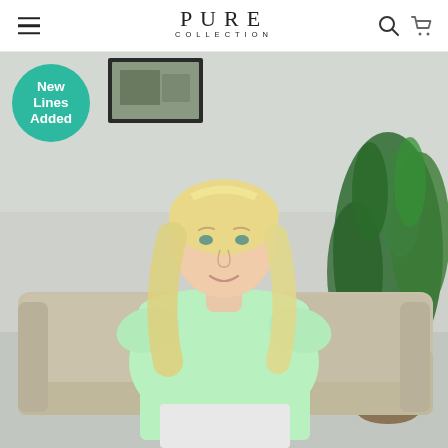PURE COLLECTION
[Figure (photo): Fashion e-commerce webpage screenshot showing Pure Collection brand header with hamburger menu, search and cart icons, and a hero image of a blonde woman sitting on a beige sofa wearing a mint green short-sleeve linen top and white shorts, with a green plant in the background and a 'New Lines Added' teal circular badge overlay in the top-left of the hero image]